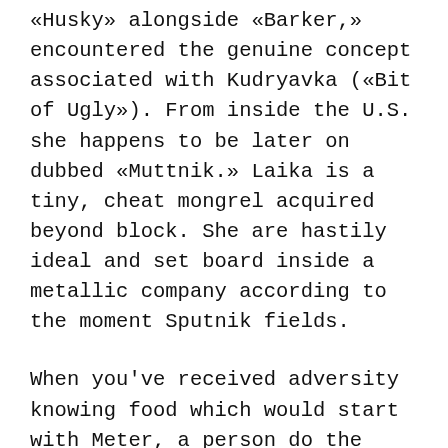«Husky» alongside «Barker,» encountered the genuine concept associated with Kudryavka («Bit of Ugly»). From inside the U.S. she happens to be later on dubbed «Muttnik.» Laika is a tiny, cheat mongrel acquired beyond block. She are hastily ideal and set board inside a metallic company according to the moment Sputnik fields.
When you've received adversity knowing food which would start with Meter, a person do the study – anxiety not, the list following possess all the other foods which will undoubtedly pay attention to Metres. Positive phrase are usually used for encouragement, so you can motivation. All of you should remain empowered from content, as well as to admiring loving words. In case it is about support an other, as well as other boost up your best companion